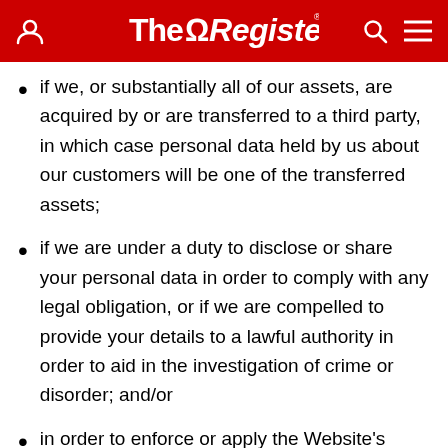The Register
if we, or substantially all of our assets, are acquired by or are transferred to a third party, in which case personal data held by us about our customers will be one of the transferred assets;
if we are under a duty to disclose or share your personal data in order to comply with any legal obligation, or if we are compelled to provide your details to a lawful authority in order to aid in the investigation of crime or disorder; and/or
in order to enforce or apply the Website's terms and conditions; or to protect the rights, property, or safety of our company, our customers, or others. This includes exchanging information with other companies and organisations for the purposes of